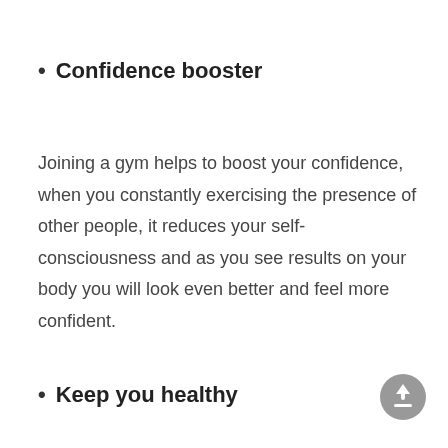Confidence booster
Joining a gym helps to boost your confidence, when you constantly exercising the presence of other people, it reduces your self-consciousness and as you see results on your body you will look even better and feel more confident.
Keep you healthy